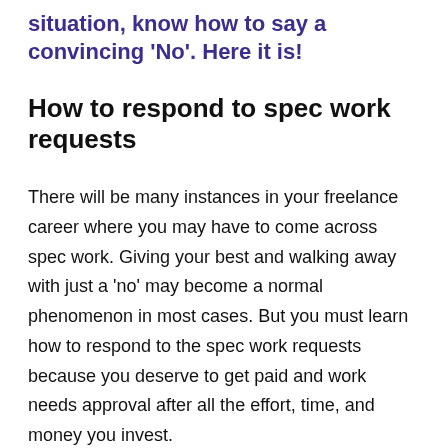situation, know how to say a convincing 'No'. Here it is!
How to respond to spec work requests
There will be many instances in your freelance career where you may have to come across spec work. Giving your best and walking away with just a 'no' may become a normal phenomenon in most cases. But you must learn how to respond to the spec work requests because you deserve to get paid and work needs approval after all the effort, time, and money you invest.